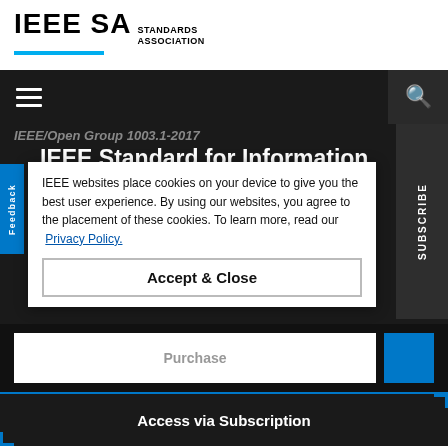IEEE SA STANDARDS ASSOCIATION
IEEE/Open Group 1003.1-2017
IEEE Standard for Information Technology--Portable Operating System Interface (POSIX(TM)) Base Specifications, Issue 7
IEEE websites place cookies on your device to give you the best user experience. By using our websites, you agree to the placement of these cookies. To learn more, read our Privacy Policy.
Accept & Close
Purchase
Access via Subscription